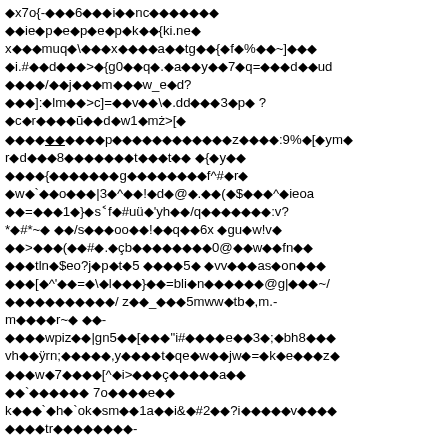Corrupted/encoded text block with diamond replacement characters and mixed ASCII symbols throughout the page.